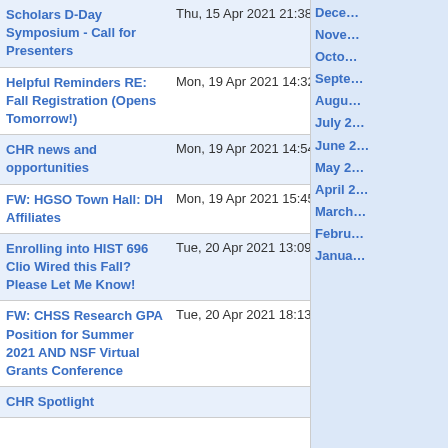| Subject | Date | Size |
| --- | --- | --- |
| Scholars D-Day Symposium - Call for Presenters | Thu, 15 Apr 2021 21:38:11 +0000 | 785 lines |
| Helpful Reminders RE: Fall Registration (Opens Tomorrow!) | Mon, 19 Apr 2021 14:32:45 +0000 | 3736 lines |
| CHR news and opportunities | Mon, 19 Apr 2021 14:54:07 +0000 | 4197 lines |
| FW: HGSO Town Hall: DH Affiliates | Mon, 19 Apr 2021 15:45:03 +0000 | 132 lines |
| Enrolling into HIST 696 Clio Wired this Fall? Please Let Me Know! | Tue, 20 Apr 2021 13:09:20 +0000 | 191 lines |
| FW: CHSS Research GPA Position for Summer 2021 AND NSF Virtual Grants Conference | Tue, 20 Apr 2021 18:13:09 +0000 | 3719 lines |
| CHR Spotlight |  |  |
December
November
October
September
August
July 2...
June 2...
May 2...
April 2...
March...
February...
January...